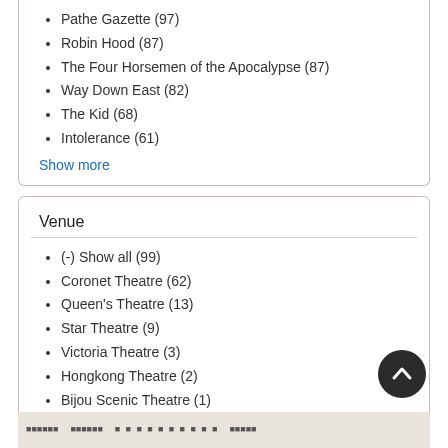Pathe Gazette (97)
Robin Hood (87)
The Four Horsemen of the Apocalypse (87)
Way Down East (82)
The Kid (68)
Intolerance (61)
Show more
Venue
(-) Show all (99)
Coronet Theatre (62)
Queen's Theatre (13)
Star Theatre (9)
Victoria Theatre (3)
Hongkong Theatre (2)
Bijou Scenic Theatre (1)
Bijou Theatre (1)
Boulevard Cinema (Paris) (1)
Criterion Theatre (New York) (1)
Show more